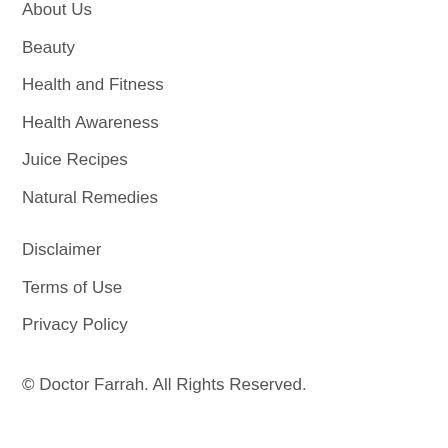About Us
Beauty
Health and Fitness
Health Awareness
Juice Recipes
Natural Remedies
Disclaimer
Terms of Use
Privacy Policy
© Doctor Farrah. All Rights Reserved.